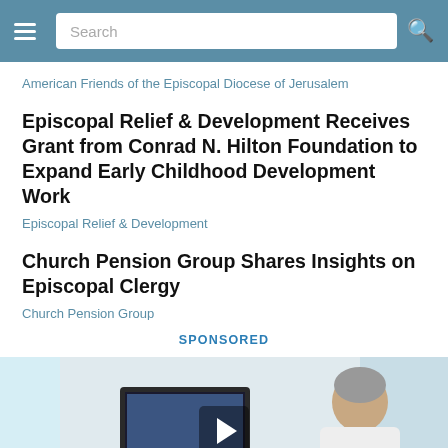Search
American Friends of the Episcopal Diocese of Jerusalem
Episcopal Relief & Development Receives Grant from Conrad N. Hilton Foundation to Expand Early Childhood Development Work
Episcopal Relief & Development
Church Pension Group Shares Insights on Episcopal Clergy
Church Pension Group
SPONSORED
[Figure (photo): A man sitting at a computer workstation viewed from the side, with another person in a dental/medical chair visible to the right]